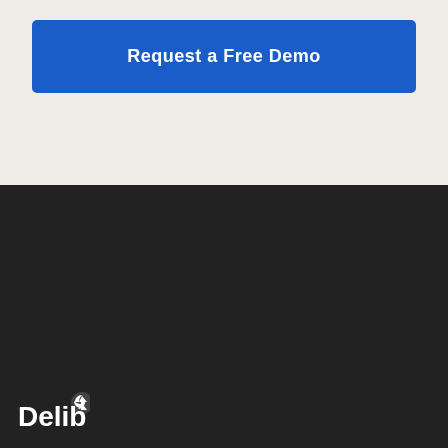Request a Free Demo
[Figure (logo): Delib logo with white text and recycling-arrow icon]
Citizen Space
Citizen Space Geospatial
Simulator
Dialogue
Who uses Delib?